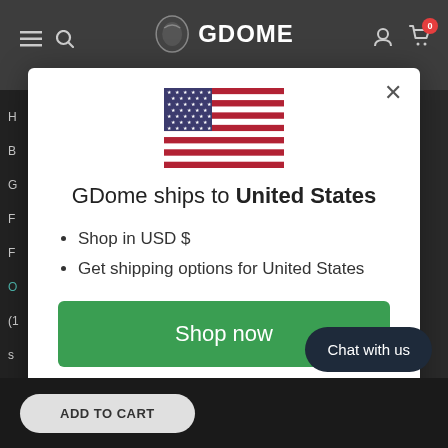[Figure (screenshot): GDome e-commerce website header with logo, navigation icons, sidebar menu items, and dark background]
[Figure (illustration): US flag icon displayed in the modal]
GDome ships to United States
Shop in USD $
Get shipping options for United States
Shop now
Change shipping country
Chat with us
ADD TO CART